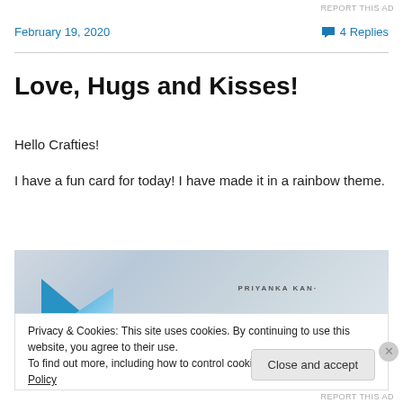REPORT THIS AD
February 19, 2020
4 Replies
Love, Hugs and Kisses!
Hello Crafties!
I have a fun card for today! I have made it in a rainbow theme.
[Figure (photo): Partial photo of a card with blue triangle/shape and text 'PRIYANKA KAN...' on a light grey textured background]
Privacy & Cookies: This site uses cookies. By continuing to use this website, you agree to their use.
To find out more, including how to control cookies, see here: Cookie Policy
Close and accept
REPORT THIS AD